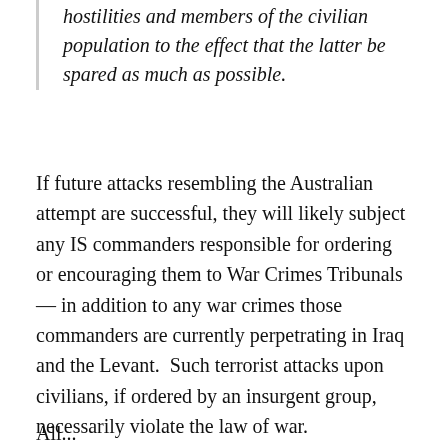hostilities and members of the civilian population to the effect that the latter be spared as much as possible.
If future attacks resembling the Australian attempt are successful, they will likely subject any IS commanders responsible for ordering or encouraging them to War Crimes Tribunals — in addition to any war crimes those commanders are currently perpetrating in Iraq and the Levant. Such terrorist attacks upon civilians, if ordered by an insurgent group, necessarily violate the law of war.
All...